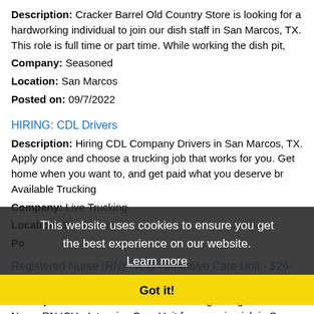Description: Cracker Barrel Old Country Store is looking for a hardworking individual to join our dish staff in San Marcos, TX. This role is full time or part time. While working the dish pit,
Company: Seasoned
Location: San Marcos
Posted on: 09/7/2022
HIRING: CDL Drivers
Description: Hiring CDL Company Drivers in San Marcos, TX. Apply once and choose a trucking job that works for you. Get home when you want to, and get paid what you deserve br Available Trucking
Company: Live Trucking
Location: San Marcos
Po...
Registered Nurse (RN) - ICU - Intensive Care Unit - $26-46 per hour
Description: CHRISTUS Health is seeking a Registered Nurse RN ICU - Intensive Care Unit for a nursing job in San Marcos, Texas.Job Description Requirements ul li Specialty: ICU - Intensive Care Unit li Discipline: (more...)
Company: CHRISTUS Health
Location: San Marcos
This website uses cookies to ensure you get the best experience on our website.
Learn more
Got it!